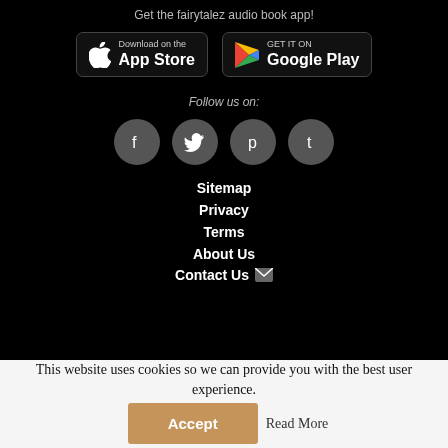Get the fairytalez audio book app!
[Figure (logo): App Store download button with Apple logo]
[Figure (logo): Google Play download button with Play logo]
Follow us on:
[Figure (infographic): Four social media icons: Facebook, Twitter, Pinterest, Tumblr]
Sitemap
Privacy
Terms
About Us
Contact Us
This website uses cookies so we can provide you with the best user experience.
Accept
Read More